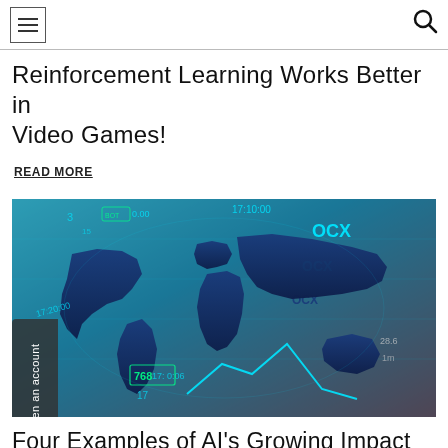≡  🔍
Reinforcement Learning Works Better in Video Games!
READ MORE
[Figure (photo): Financial markets world map image with stock data overlays showing numbers, OCX labels, and a cyan world map silhouette on a blue background with financial chart elements]
Four Examples of AI's Growing Impact on Financial Services